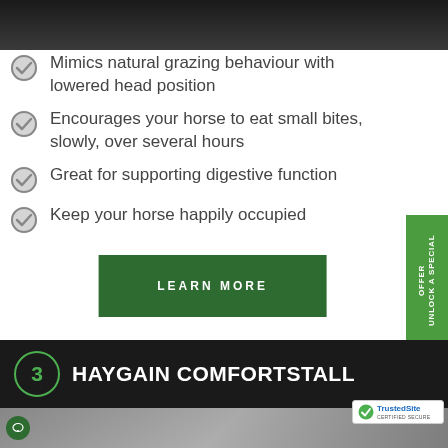[Figure (photo): Dark background image at top of page, appears to be a horse product or equestrian scene]
Mimics natural grazing behaviour with lowered head position
Encourages your horse to eat small bites, slowly, over several hours
Great for supporting digestive function
Keep your horse happily occupied
LEARN MORE
3 HAYGAIN COMFORTSTALL
[Figure (photo): Photo of a horse (bottom of page), partially visible]
[Figure (logo): TrustedSite CERTIFIED SECURE badge]